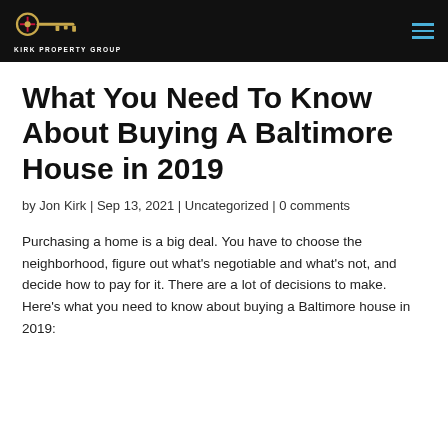Kirk Property Group
What You Need To Know About Buying A Baltimore House in 2019
by Jon Kirk | Sep 13, 2021 | Uncategorized | 0 comments
Purchasing a home is a big deal. You have to choose the neighborhood, figure out what's negotiable and what's not, and decide how to pay for it. There are a lot of decisions to make. Here's what you need to know about buying a Baltimore house in 2019: